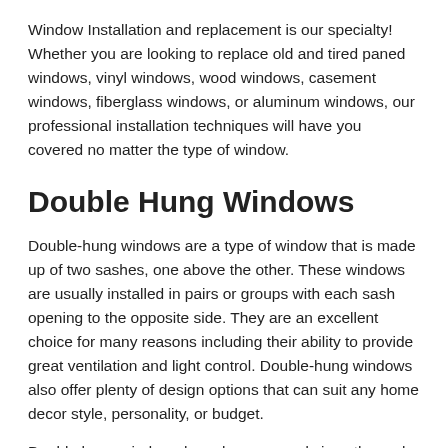Window Installation and replacement is our specialty! Whether you are looking to replace old and tired paned windows, vinyl windows, wood windows, casement windows, fiberglass windows, or aluminum windows, our professional installation techniques will have you covered no matter the type of window.
Double Hung Windows
Double-hung windows are a type of window that is made up of two sashes, one above the other. These windows are usually installed in pairs or groups with each sash opening to the opposite side. They are an excellent choice for many reasons including their ability to provide great ventilation and light control. Double-hung windows also offer plenty of design options that can suit any home decor style, personality, or budget.
Double hung windows have been around since the early